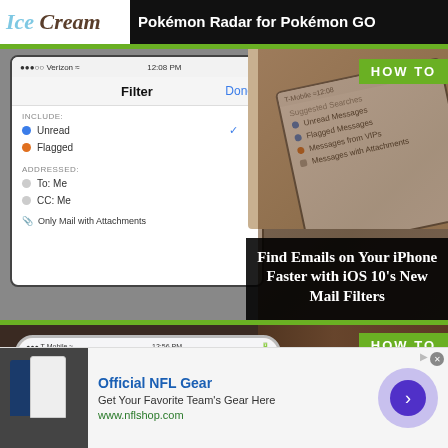Ice Cream — Pokémon Radar for Pokémon GO
[Figure (screenshot): iPhone screenshot showing iOS Mail Filter options including Unread, Flagged, To: Me, CC: Me, Only Mail with Attachments; overlapping with angled phone showing Suggested Searches: Unread Messages, Flagged Messages, Messages from VIPs, Messages with Attachments. HOW TO badge top-right.]
Find Emails on Your iPhone Faster with iOS 10's New Mail Filters
[Figure (screenshot): iPhone screenshot showing Wi-Fi settings screen with T-Mobile carrier, time 12:56 PM, Wi-Fi label, Best Available and Good options. HOW TO badge top-right. Background shows blurred wooden surface.]
[Figure (other): Advertisement banner: Official NFL Gear — Get Your Favorite Team's Gear Here — www.nflshop.com, with NFL jerseys image and purple call-to-action button with arrow.]